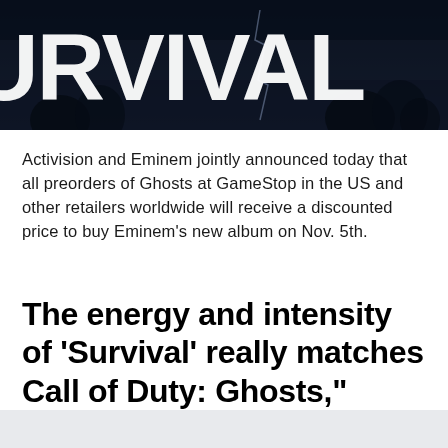[Figure (photo): Dark textured banner image with large white bold text reading 'SURVIVAL' (partially cropped, showing 'URVIVAL'), with a dark blue/black grunge background and tree silhouettes]
Activision and Eminem jointly announced today that all preorders of Ghosts at GameStop in the US and other retailers worldwide will receive a discounted price to buy Eminem's new album on Nov. 5th.
The energy and intensity of ‘Survival’ really matches Call of Duty: Ghosts,” commented Eminem. “I’m excited to